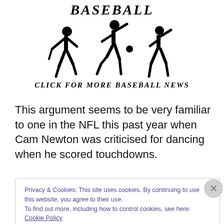[Figure (illustration): Baseball banner with three silhouetted baseball player figures (batter, pitcher, fielder) and the word BASEBALL in bold italic text above them, followed by CLICK FOR MORE BASEBALL NEWS below]
This argument seems to be very familiar to one in the NFL this past year when Cam Newton was criticised for dancing when he scored touchdowns.
Privacy & Cookies: This site uses cookies. By continuing to use this website, you agree to their use.
To find out more, including how to control cookies, see here: Cookie Policy
Close and accept